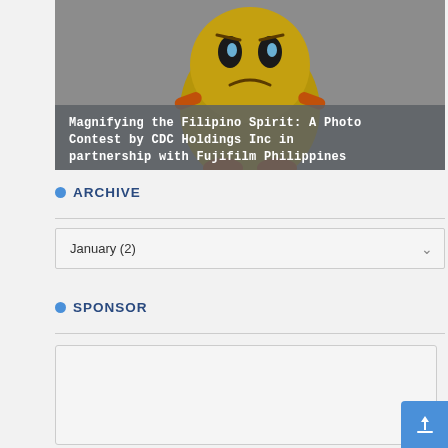[Figure (illustration): Cartoon character illustration on gray background at top of page]
Magnifying the Filipino Spirit: A Photo Contest by CDC Holdings Inc in partnership with Fujifilm Philippines
ARCHIVE
January (2)
SPONSOR
[Figure (other): Sponsor advertisement box - empty white/light gray area]